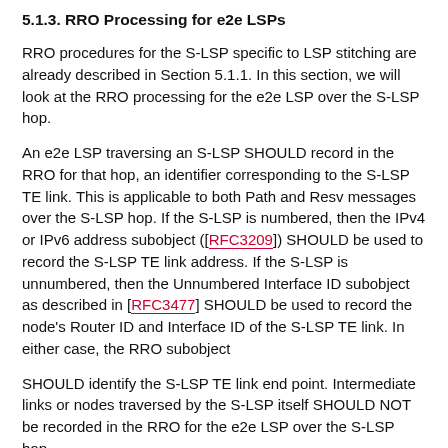5.1.3. RRO Processing for e2e LSPs
RRO procedures for the S-LSP specific to LSP stitching are already described in Section 5.1.1. In this section, we will look at the RRO processing for the e2e LSP over the S-LSP hop.
An e2e LSP traversing an S-LSP SHOULD record in the RRO for that hop, an identifier corresponding to the S-LSP TE link. This is applicable to both Path and Resv messages over the S-LSP hop. If the S-LSP is numbered, then the IPv4 or IPv6 address subobject ([RFC3209]) SHOULD be used to record the S-LSP TE link address. If the S-LSP is unnumbered, then the Unnumbered Interface ID subobject as described in [RFC3477] SHOULD be used to record the node's Router ID and Interface ID of the S-LSP TE link. In either case, the RRO subobject
SHOULD identify the S-LSP TE link end point. Intermediate links or nodes traversed by the S-LSP itself SHOULD NOT be recorded in the RRO for the e2e LSP over the S-LSP hop.